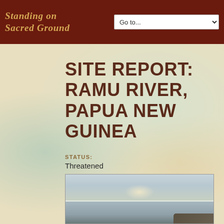Standing on Sacred Ground | Go to...
SITE REPORT: RAMU RIVER, PAPUA NEW GUINEA
STATUS: Threatened
COUNTRY: Papua New Guinea
REPORT BY: Susan Alexander and Rebecca Isaacson
[Figure (photo): Landscape photo of the Ramu River area showing water, sky, and distant land in Papua New Guinea]